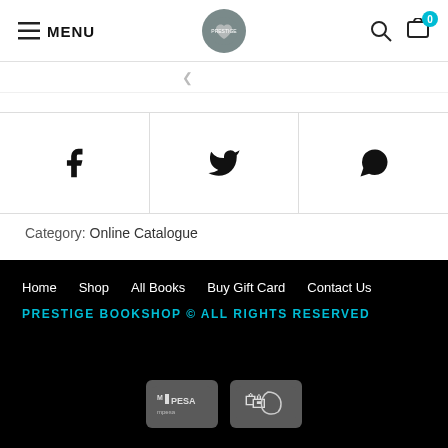MENU | Prestige Bookshop logo | Search | Cart (0)
[Figure (screenshot): Social share icons row: Facebook, Twitter, WhatsApp]
Category: Online Catalogue
Home  Shop  All Books  Buy Gift Card  Contact Us
PRESTIGE BOOKSHOP © ALL RIGHTS RESERVED
M-PESA and Kenya payment badges